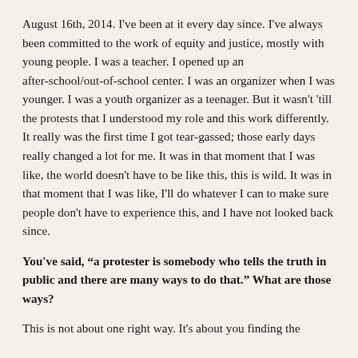August 16th, 2014. I've been at it every day since. I've always been committed to the work of equity and justice, mostly with young people. I was a teacher. I opened up an after-school/out-of-school center. I was an organizer when I was younger. I was a youth organizer as a teenager. But it wasn't 'till the protests that I understood my role and this work differently. It really was the first time I got tear-gassed; those early days really changed a lot for me. It was in that moment that I was like, the world doesn't have to be like this, this is wild. It was in that moment that I was like, I'll do whatever I can to make sure people don't have to experience this, and I have not looked back since.
You've said, "a protester is somebody who tells the truth in public and there are many ways to do that." What are those ways?
This is not about one right way. It's about you finding the